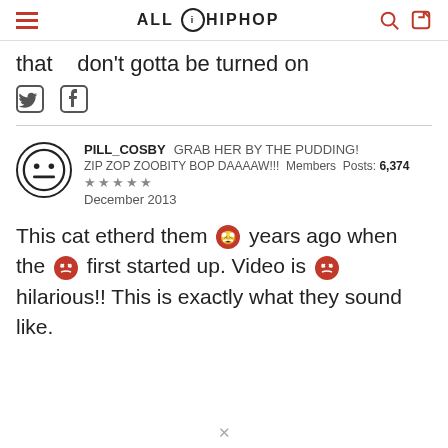ALL HIP HOP
that  don't gotta be turned on
[Figure (other): Twitter and Facebook share icons]
PILL_COSBY  GRAB HER BY THE PUDDING!
ZIP ZOP ZOOBITY BOP DAAAAW!!!  Members  Posts: 6,374
★★★★★
December 2013
This cat etherd them [emoji] years ago when the [emoji] first started up. Video is [emoji] hilarious!! This is exactly what they sound like.